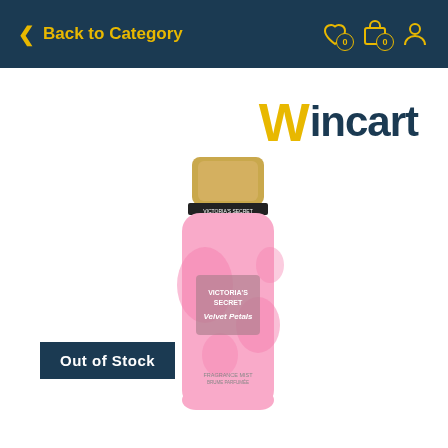< Back to Category
Wincart
[Figure (photo): Victoria's Secret Velvet Petals Fragrance Mist spray bottle, 250ml/8.4 fl oz, pink bottle with gold cap]
Out of Stock